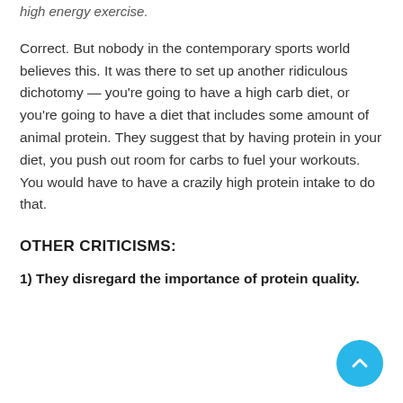high energy exercise.
Correct. But nobody in the contemporary sports world believes this. It was there to set up another ridiculous dichotomy — you're going to have a high carb diet, or you're going to have a diet that includes some amount of animal protein. They suggest that by having protein in your diet, you push out room for carbs to fuel your workouts. You would have to have a crazily high protein intake to do that.
OTHER CRITICISMS:
1) They disregard the importance of protein quality.